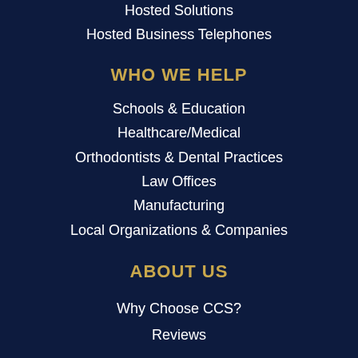Hosted Solutions
Hosted Business Telephones
WHO WE HELP
Schools & Education
Healthcare/Medical
Orthodontists & Dental Practices
Law Offices
Manufacturing
Local Organizations & Companies
ABOUT US
Why Choose CCS?
Reviews